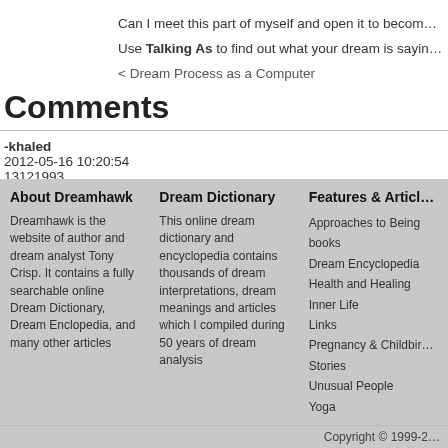Can I meet this part of myself and open it to becom…
Use Talking As to find out what your dream is sayin…
< Dream Process as a Computer
Comments
-khaled
2012-05-16 10:20:54
13121993
About Dreamhawk | Dream Dictionary | Features & Articles
Dreamhawk is the website of author and dream analyst Tony Crisp. It contains a fully searchable online Dream Dictionary, Dream Enclopedia, and many other articles
This online dream dictionary and encyclopedia contains thousands of dream interpretations, dream meanings and articles which I compiled during 50 years of dream analysis
Approaches to Being books, Dream Encyclopedia, Health and Healing, Inner Life, Links, Pregnancy & Childbirth, Stories, Unusual People, Yoga
Copyright © 1999-2